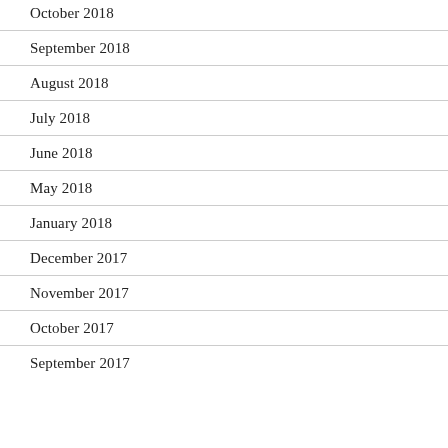October 2018
September 2018
August 2018
July 2018
June 2018
May 2018
January 2018
December 2017
November 2017
October 2017
September 2017